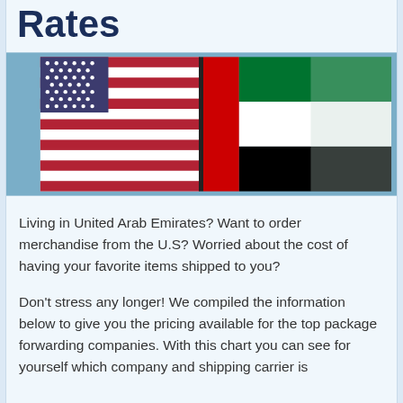Rates
[Figure (photo): Side-by-side photo of the US flag (left, stars and red/white stripes) and the UAE flag (right, green, white, black, and red vertical stripe) against a blue sky.]
Living in United Arab Emirates? Want to order merchandise from the U.S? Worried about the cost of having your favorite items shipped to you?
Don't stress any longer! We compiled the information below to give you the pricing available for the top package forwarding companies. With this chart you can see for yourself which company and shipping carrier is